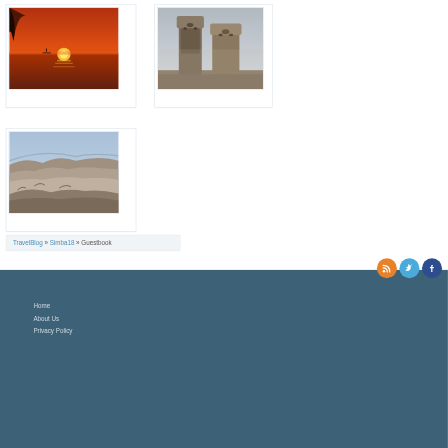[Figure (photo): Travel photo 1: Orange sunset over water with silhouetted palm frond]
[Figure (photo): Travel photo 2: Ancient stone statues or rock formations]
[Figure (photo): Travel photo 3: Aerial or elevated view of rocky landscape]
TravelBlog » Simba18 » Guestbook
Home
About Us
Privacy Policy